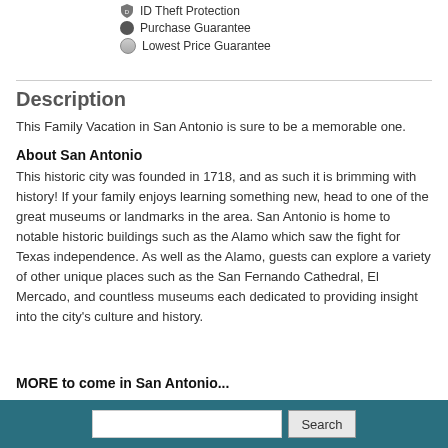ID Theft Protection
Purchase Guarantee
Lowest Price Guarantee
Description
This Family Vacation in San Antonio is sure to be a memorable one.
About San Antonio
This historic city was founded in 1718, and as such it is brimming with history! If your family enjoys learning something new, head to one of the great museums or landmarks in the area. San Antonio is home to notable historic buildings such as the Alamo which saw the fight for Texas independence. As well as the Alamo, guests can explore a variety of other unique places such as the San Fernando Cathedral, El Mercado, and countless museums each dedicated to providing insight into the city's culture and history.
Search